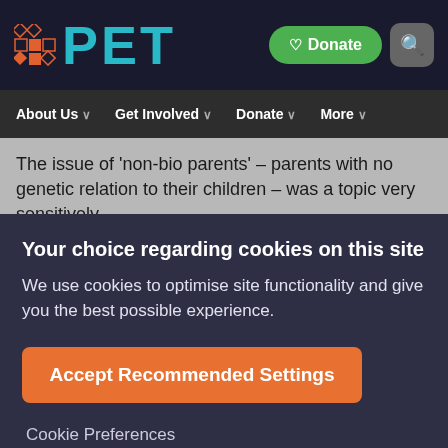PET — Donate | navigation: About Us, Get Involved, Donate, More
The issue of 'non-bio parents' – parents with no genetic relation to their children – was a topic very sensitively
Your choice regarding cookies on this site
We use cookies to optimise site functionality and give you the best possible experience.
Accept Recommended Settings
Cookie Preferences